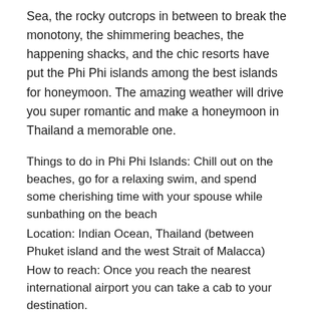Sea, the rocky outcrops in between to break the monotony, the shimmering beaches, the happening shacks, and the chic resorts have put the Phi Phi islands among the best islands for honeymoon. The amazing weather will drive you super romantic and make a honeymoon in Thailand a memorable one.
Things to do in Phi Phi Islands: Chill out on the beaches, go for a relaxing swim, and spend some cherishing time with your spouse while sunbathing on the beach Location: Indian Ocean, Thailand (between Phuket island and the west Strait of Malacca) How to reach: Once you reach the nearest international airport you can take a cab to your destination. Nearest airport: Phuket International Airport Best time to visit: April & November Best place to stay: Zeavola Resort, Phi Phi Island...